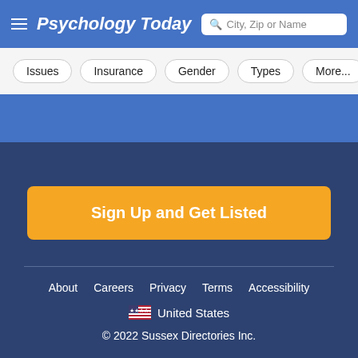Psychology Today — City, Zip or Name search
Issues
Insurance
Gender
Types
More...
Sign Up and Get Listed
About   Careers   Privacy   Terms   Accessibility
🇺🇸 United States
© 2022 Sussex Directories Inc.